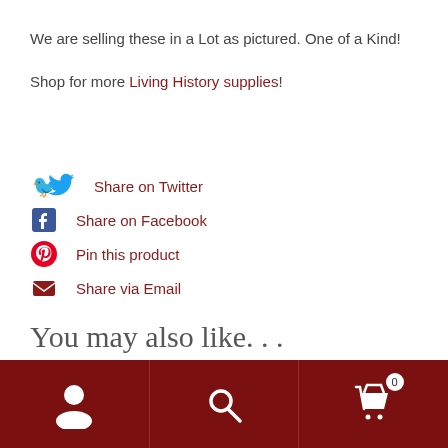We are selling these in a Lot as pictured.  One of a Kind!
Shop for more Living History supplies!
Share on Twitter
Share on Facebook
Pin this product
Share via Email
You may also like. . .
[Figure (other): Dark red footer navigation bar with user account icon, search icon, and shopping cart icon with badge showing 0]